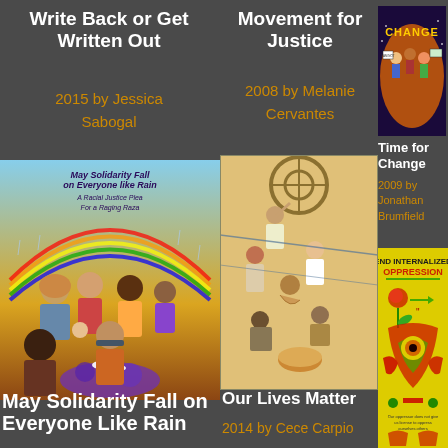Write Back or Get Written Out
2015 by Jessica Sabogal
Movement for Justice
2008 by Melanie Cervantes
[Figure (illustration): CHANGE poster showing diverse cartoon children holding signs, colorful activist illustration]
Time for Change
2009 by Jonathan Brumfield
[Figure (illustration): May Solidarity Fall on Everyone like Rain - A Racial Justice Plea by Raging Raza, showing diverse group of people with flowers]
[Figure (illustration): Our Lives Matter - painting of workers/people climbing, warm earthy tones]
[Figure (illustration): End Internalized Oppression - yellow poster with red/green/black indigenous artwork and hands]
May Solidarity Fall on Everyone Like Rain
Our Lives Matter
2014 by Cece Carpio